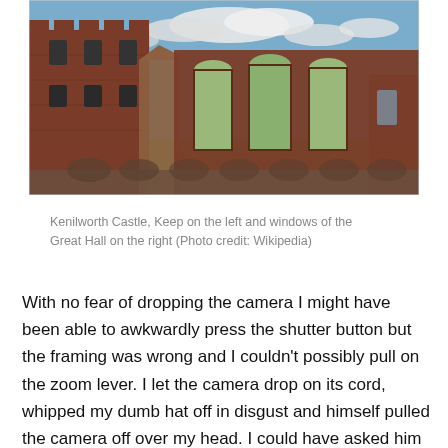[Figure (photo): Photograph of Kenilworth Castle ruins showing the Keep on the left and windows of the Great Hall on the right, with blue sky and clouds in the background.]
Kenilworth Castle, Keep on the left and windows of the Great Hall on the right (Photo credit: Wikipedia)
With no fear of dropping the camera I might have been able to awkwardly press the shutter button but the framing was wrong and I couldn't possibly pull on the zoom lever. I let the camera drop on its cord, whipped my dumb hat off in disgust and himself pulled the camera off over my head. I could have asked him to be my cameraman for the day but I was so annoyed with the whole ordeal I thrust the